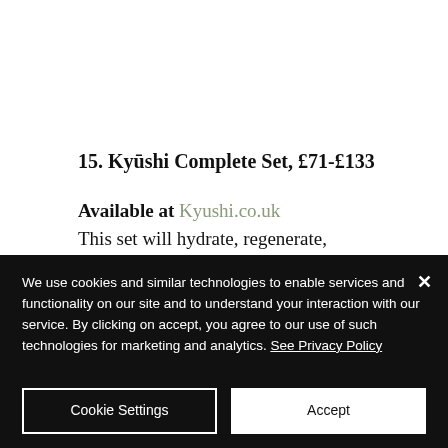15. Kyūshi Complete Set, £71-£133
Available at Kyushi.co.uk
This set will hydrate, regenerate, energise, help dark spots to fade, reduce inflammation and boost...
We use cookies and similar technologies to enable services and functionality on our site and to understand your interaction with our service. By clicking on accept, you agree to our use of such technologies for marketing and analytics. See Privacy Policy
Cookie Settings
Accept